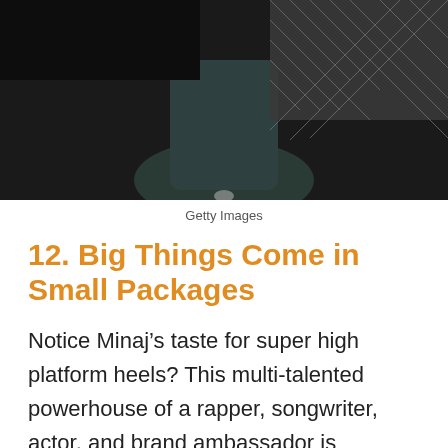[Figure (photo): Dark photo showing a person seated, wearing checkered/diamond-patterned fabric, dark background]
Getty Images
12. Big Things Come in Small Packages
Notice Minaj’s taste for super high platform heels? This multi-talented powerhouse of a rapper, songwriter, actor, and brand ambassador is wrapped up into a tiny 5’2” (1.57 m) frame.